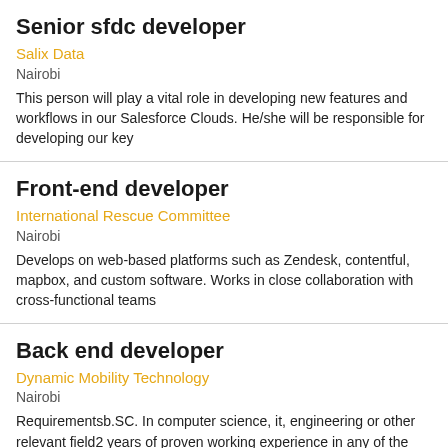Senior sfdc developer
Salix Data
Nairobi
This person will play a vital role in developing new features and workflows in our Salesforce Clouds. He/she will be responsible for developing our key
Front-end developer
International Rescue Committee
Nairobi
Develops on web-based platforms such as Zendesk, contentful, mapbox, and custom software. Works in close collaboration with cross-functional teams
Back end developer
Dynamic Mobility Technology
Nairobi
Requirementsb.SC. In computer science, it, engineering or other relevant field2 years of proven working experience in any of the following languages: C#,
Backend Developer Role(Remote
Impact Africa Network
Design server-side architecturewrite effective APIs and integrate with the